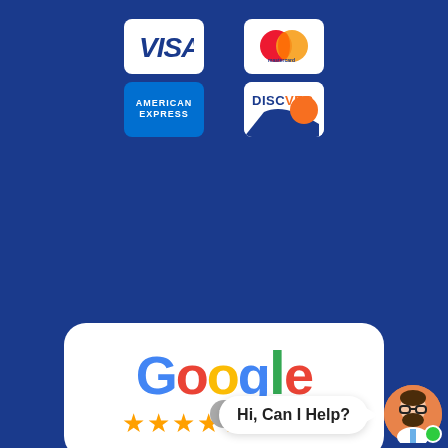[Figure (logo): Visa credit card logo on white rounded rectangle background, dark blue background]
[Figure (logo): Mastercard credit card logo (two overlapping circles, red and orange) on white rounded rectangle, dark blue background]
[Figure (logo): American Express credit card logo on blue rounded rectangle, dark blue background]
[Figure (logo): Discover credit card logo on white rounded rectangle with blue stripe, dark blue background]
[Figure (logo): Google Reviews badge with Google logo and 5 gold stars on white rounded rectangle, dark blue background]
[Figure (illustration): Chat widget at bottom right: grey X close button, white speech bubble saying 'Hi, Can I Help?' with arrow, orange circular avatar of bearded man with glasses, green online indicator dot]